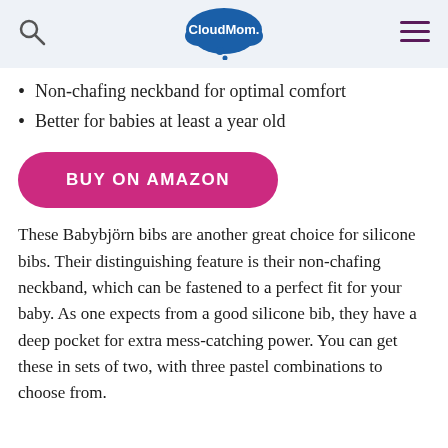CloudMom.
Non-chafing neckband for optimal comfort
Better for babies at least a year old
[Figure (other): Pink 'BUY ON AMAZON' button with rounded corners]
These Babybjörn bibs are another great choice for silicone bibs. Their distinguishing feature is their non-chafing neckband, which can be fastened to a perfect fit for your baby. As one expects from a good silicone bib, they have a deep pocket for extra mess-catching power. You can get these in sets of two, with three pastel combinations to choose from.